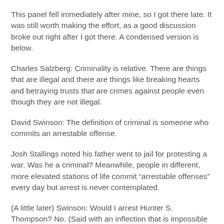This panel fell immediately after mine, so I got there late. It was still worth making the effort, as a good discussion broke out right after I got there. A condensed version is below.
Charles Salzberg: Criminality is relative. There are things that are illegal and there are things like breaking hearts and betraying trusts that are crimes against people even though they are not illegal.
David Swinson: The definition of criminal is someone who commits an arrestable offense.
Josh Stallings noted his father went to jail for protesting a war. Was he a criminal? Meanwhile, people in different, more elevated stations of life commit “arrestable offenses” every day but arrest is never contemplated.
(A little later) Swinson: Would I arrest Hunter S. Thompson? No. (Said with an inflection that is impossible to capture in writing. May easily be interpreted as, “Fuck no.”)